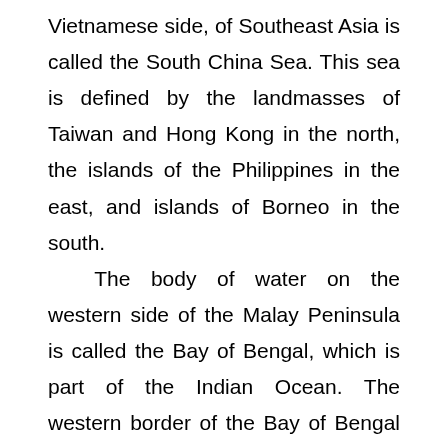Vietnamese side, of Southeast Asia is called the South China Sea. This sea is defined by the landmasses of Taiwan and Hong Kong in the north, the islands of the Philippines in the east, and islands of Borneo in the south. The body of water on the western side of the Malay Peninsula is called the Bay of Bengal, which is part of the Indian Ocean. The western border of the Bay of Bengal is the Indian Peninsula. Sri Lanka, also known by her colonial name Ceylon, is a significant island in the Bay of Bengal.